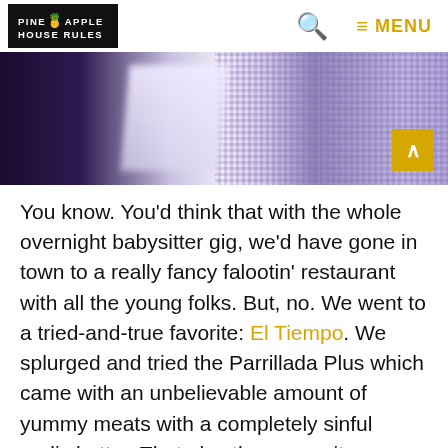PINEAPPLE HOUSE RULES — Search — MENU
[Figure (photo): Close-up photo showing fabric textures — dark purple/navy on left, light feathery white/lavender in middle, and blue/purple checked gingham pattern on the right]
You know. You'd think that with the whole overnight babysitter gig, we'd have gone in town to a really fancy falootin' restaurant with all the young folks. But, no. We went to a tried-and-true favorite: El Tiempo. We splurged and tried the Parrillada Plus which came with an unbelievable amount of yummy meats with a completely sinful garlic butter. That plus the margaritas means I'll be in spin class until